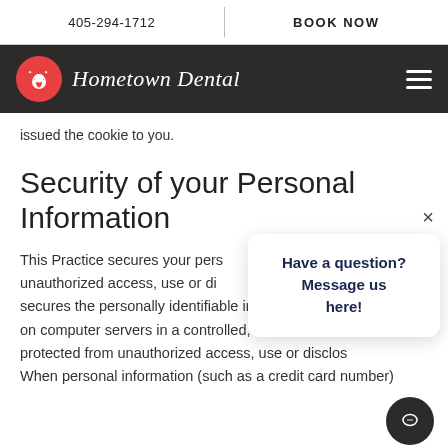405-294-1712   |   BOOK NOW
[Figure (logo): Hometown Dental logo with red circle containing a tooth icon and brand name in white italic script, on dark background with hamburger menu icon]
issued the cookie to you.
Security of your Personal Information
This Practice secures your pers… unauthorized access, use or di… secures the personally identifiable information you provide on computer servers in a controlled, secure environm… protected from unauthorized access, use or disclos… When personal information (such as a credit card number)
[Figure (screenshot): Chat popup overlay with close X button, bold dark blue text reading 'Have a question? Message us here!' and a dark circular chat icon button at bottom right]